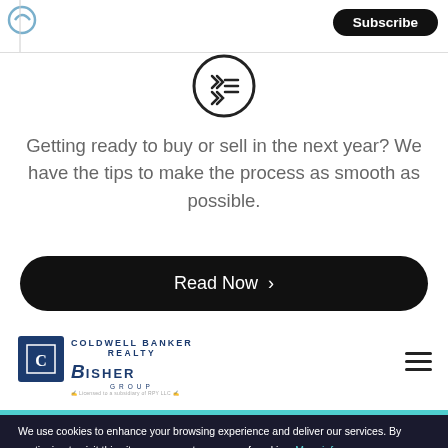Subscribe
[Figure (illustration): Checklist icon in a circle — checkmarks and lines]
Getting ready to buy or sell in the next year? We have the tips to make the process as smooth as possible.
Read Now >
[Figure (logo): Coldwell Banker Realty logo with Bisher Group sub-brand]
We use cookies to enhance your browsing experience and deliver our services. By continuing to visit this site, you agree to our use of cookies. More info
OK